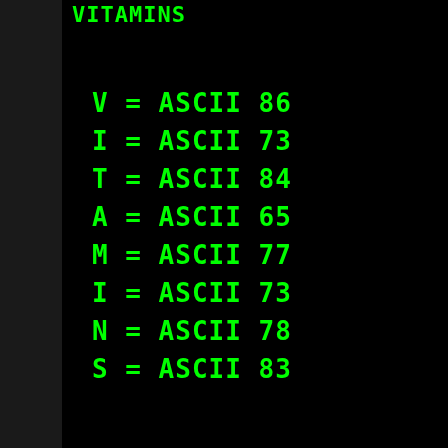VITAMINS
V = ASCII 86
I = ASCII 73
T = ASCII 84
A = ASCII 65
M = ASCII 77
I = ASCII 73
N = ASCII 78
S = ASCII 83